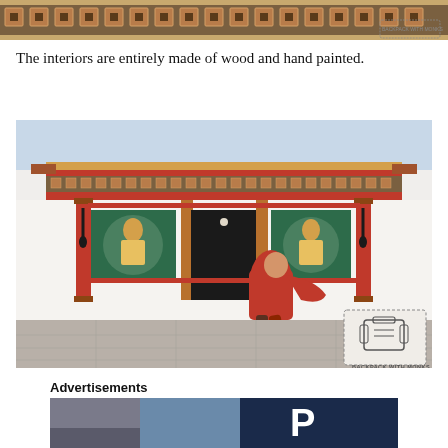[Figure (photo): Decorative top banner photo showing ornate Bhutanese temple/dzong architectural details with colorful painted patterns and woodwork]
The interiors are entirely made of wood and hand painted.
[Figure (photo): A monk in red robes walking in front of an ornate Bhutanese temple entrance with colorful hand-painted doors, wooden columns, and decorative facade. A watermark logo reads 'Backpack with Monks' in the lower right corner.]
Advertisements
[Figure (photo): Advertisement image showing a partial view of what appears to be a parking or travel-related advertisement with a large letter P on dark background]